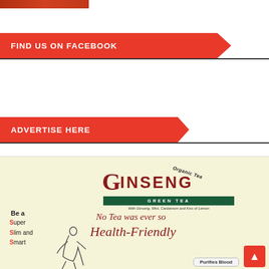[Figure (photo): Partial top image strip in orange/red]
FIND US ON FACEBOOK
ADVERTISE HERE
[Figure (illustration): Ginseng Green Tea advertisement. Organic Tea logo. Tagline: No Tea was ever so Health-Friendly. Be a Super Slim and Smart. Purifies Blood. Woman figure illustration.]